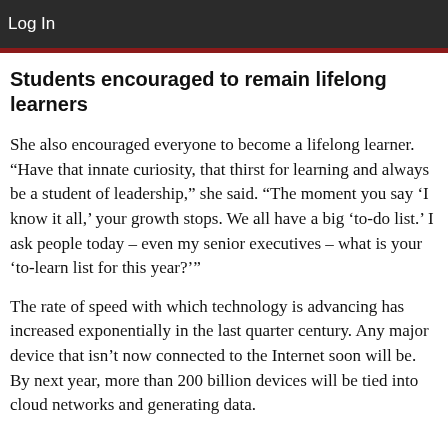Log In
Students encouraged to remain lifelong learners
She also encouraged everyone to become a lifelong learner. “Have that innate curiosity, that thirst for learning and always be a student of leadership,” she said. “The moment you say ‘I know it all,’ your growth stops. We all have a big ‘to-do list.’ I ask people today – even my senior executives – what is your ‘to-learn list for this year?’”
The rate of speed with which technology is advancing has increased exponentially in the last quarter century. Any major device that isn’t now connected to the Internet soon will be. By next year, more than 200 billion devices will be tied into cloud networks and generating data.